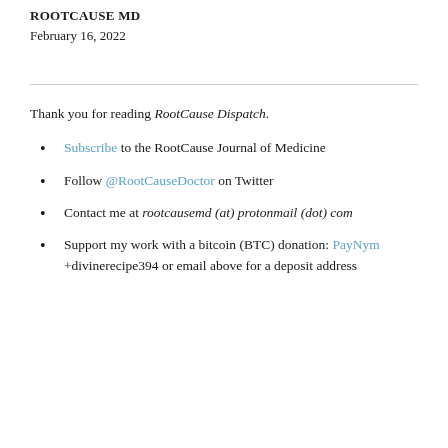ROOTCAUSE MD
February 16, 2022
Thank you for reading RootCause Dispatch.
Subscribe to the RootCause Journal of Medicine
Follow @RootCauseDoctor on Twitter
Contact me at rootcausemd (at) protonmail (dot) com
Support my work with a bitcoin (BTC) donation: PayNym +divinerecipe394 or email above for a deposit address